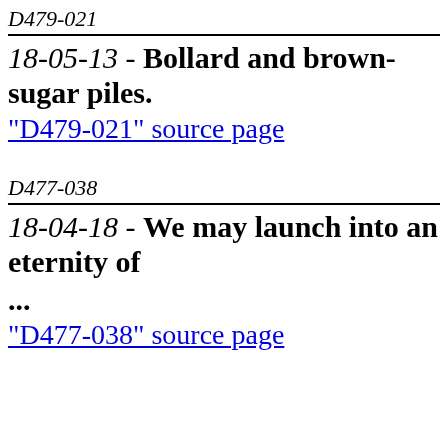D479-021
18-05-13 - Bollard and brown-sugar piles.
"D479-021" source page
D477-038
18-04-18 - We may launch into an eternity of ...
"D477-038" source page